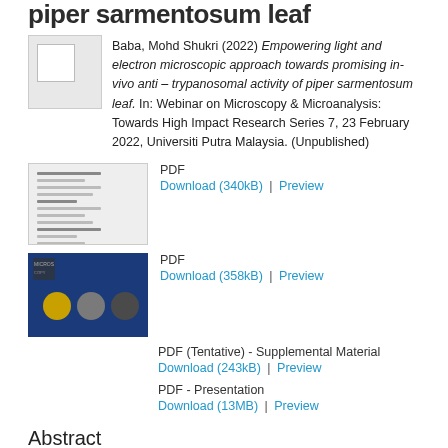piper sarmentosum leaf
[Figure (other): Small thumbnail image placeholder with border]
Baba, Mohd Shukri (2022) Empowering light and electron microscopic approach towards promising in-vivo anti – trypanosomal activity of piper sarmentosum leaf. In: Webinar on Microscopy & Microanalysis: Towards High Impact Research Series 7, 23 February 2022, Universiti Putra Malaysia. (Unpublished)
[Figure (other): PDF thumbnail showing document pages with text lines]
PDF
Download (340kB) | Preview
[Figure (other): PDF thumbnail with blue background showing presentation slide with photos]
PDF
Download (358kB) | Preview
PDF (Tentative) - Supplemental Material
Download (243kB) | Preview
PDF - Presentation
Download (13MB) | Preview
Abstract